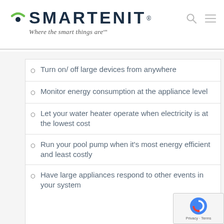[Figure (logo): SMARTENIT logo with green arc icon, dark navy wordmark text, tagline 'Where the smart things are' in italic, search and menu icons top right]
Turn on/ off large devices from anywhere
Monitor energy consumption at the appliance level
Let your water heater operate when electricity is at the lowest cost
Run your pool pump when it's most energy efficient and least costly
Have large appliances respond to other events in your system